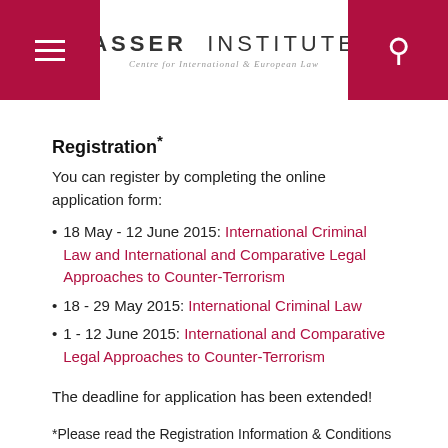ASSER INSTITUTE — Centre for International & European Law
Registration*
You can register by completing the online application form:
18 May - 12 June 2015: International Criminal Law and International and Comparative Legal Approaches to Counter-Terrorism
18 - 29 May 2015: International Criminal Law
1 - 12 June 2015: International and Comparative Legal Approaches to Counter-Terrorism
The deadline for application has been extended!
*Please read the Registration Information & Conditions